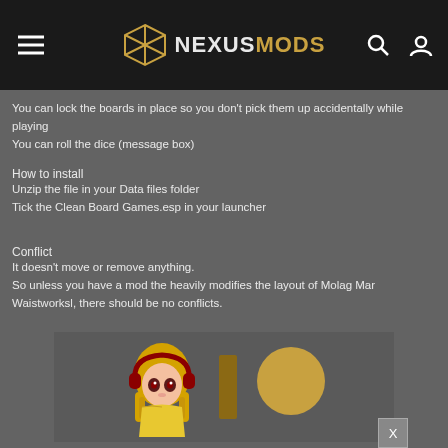NEXUSMODS
You can lock the boards in place so you don't pick them up accidentally while playing
You can roll the dice (message box)
How to install
Unzip the file in your Data files folder
Tick the Clean Board Games.esp in your launcher
Conflict
It doesn't move or remove anything.
So unless you have a mod the heavily modifies the layout of Molag Mar Waistworksl, there should be no conflicts.
[Figure (other): Patreon advertisement banner with anime-style character avatar and Patreon logo]